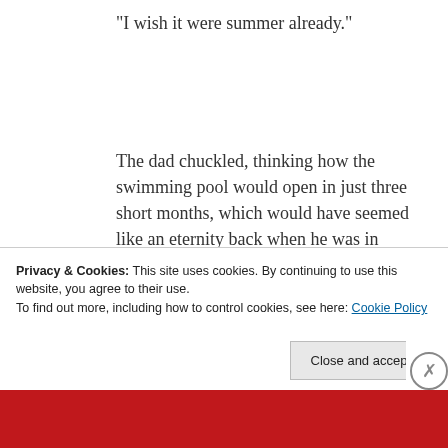“I wish it were summer already.”
The dad chuckled, thinking how the swimming pool would open in just three short months, which would have seemed like an eternity back when he was in Kindergarten.
Privacy & Cookies: This site uses cookies. By continuing to use this website, you agree to their use.
To find out more, including how to control cookies, see here: Cookie Policy
Close and accept